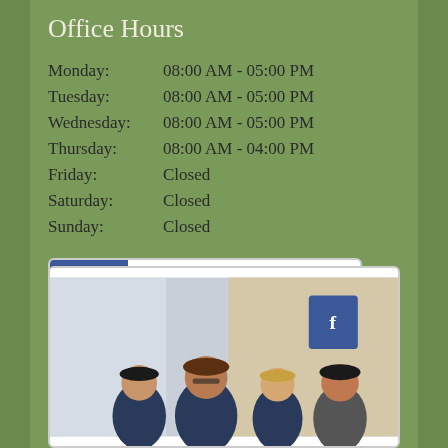Office Hours
| Day | Hours |
| --- | --- |
| Monday: | 08:00 AM - 05:00 PM |
| Tuesday: | 08:00 AM - 05:00 PM |
| Wednesday: | 08:00 AM - 05:00 PM |
| Thursday: | 08:00 AM - 04:00 PM |
| Friday: | Closed |
| Saturday: | Closed |
| Sunday: | Closed |
[Figure (logo): Find us on Facebook banner with Facebook logo]
[Figure (photo): Group photo of medical office staff in scrubs, four people smiling]